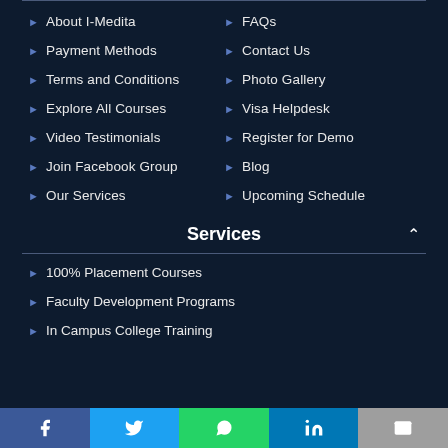About I-Medita
Payment Methods
Terms and Conditions
Explore All Courses
Video Testimonials
Join Facebook Group
Our Services
FAQs
Contact Us
Photo Gallery
Visa Helpdesk
Register for Demo
Blog
Upcoming Schedule
Services
100% Placement Courses
Faculty Development Programs
In Campus College Training